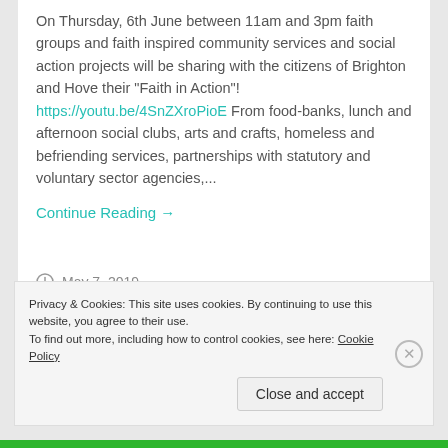On Thursday, 6th June between 11am and 3pm faith groups and faith inspired community services and social action projects will be sharing with the citizens of Brighton and Hove their "Faith in Action"! https://youtu.be/4SnZXroPioE From food-banks, lunch and afternoon social clubs, arts and crafts, homeless and befriending services, partnerships with statutory and voluntary sector agencies,...
Continue Reading →
May 7, 2019
Privacy & Cookies: This site uses cookies. By continuing to use this website, you agree to their use. To find out more, including how to control cookies, see here: Cookie Policy
Close and accept